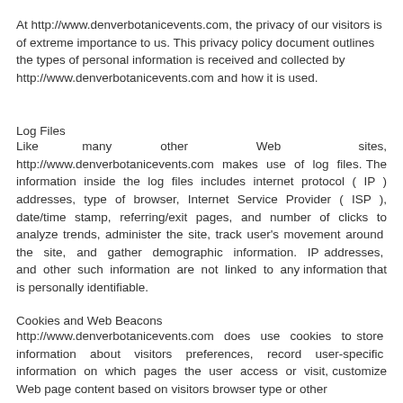At http://www.denverbotanicevents.com, the privacy of our visitors is of extreme importance to us. This privacy policy document outlines the types of personal information is received and collected by http://www.denverbotanicevents.com and how it is used.
Log Files
Like many other Web sites, http://www.denverbotanicevents.com makes use of log files. The information inside the log files includes internet protocol ( IP ) addresses, type of browser, Internet Service Provider ( ISP ), date/time stamp, referring/exit pages, and number of clicks to analyze trends, administer the site, track user's movement around the site, and gather demographic information. IP addresses, and other such information are not linked to any information that is personally identifiable.
Cookies and Web Beacons
http://www.denverbotanicevents.com does use cookies to store information about visitors preferences, record user-specific information on which pages the user access or visit, customize Web page content based on visitors browser type or other information that the visitor sends via their browser.